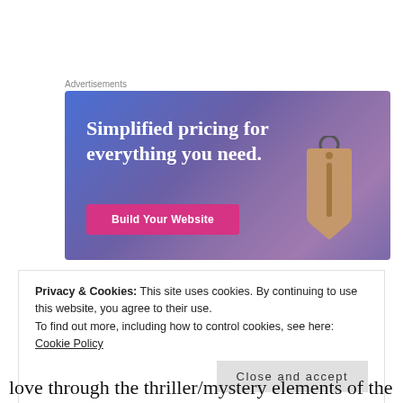Advertisements
[Figure (illustration): Advertisement banner with gradient blue-purple background, text 'Simplified pricing for everything you need.', a pink 'Build Your Website' button, and a price tag graphic on the right.]
Privacy & Cookies: This site uses cookies. By continuing to use this website, you agree to their use.
To find out more, including how to control cookies, see here: Cookie Policy
Close and accept
love through the thriller/mystery elements of the